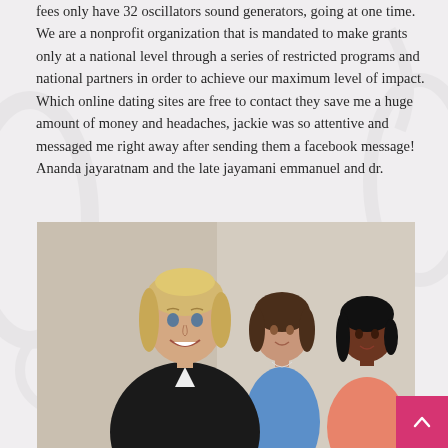fees only have 32 oscillators sound generators, going at one time. We are a nonprofit organization that is mandated to make grants only at a national level through a series of restricted programs and national partners in order to achieve our maximum level of impact. Which online dating sites are free to contact they save me a huge amount of money and headaches, jackie was so attentive and messaged me right away after sending them a facebook message! Ananda jayaratnam and the late jayamani emmanuel and dr.
[Figure (photo): Three professional women smiling. In the foreground is a blonde woman in a black blazer. Behind her to the left is a brunette woman in a blue shirt, and to the right is a dark-haired woman in a pink/coral top.]